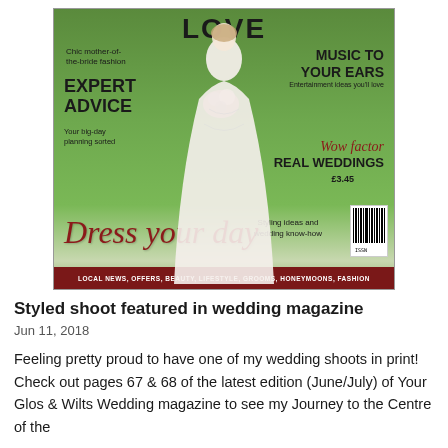[Figure (photo): Cover of a wedding magazine showing a bride in a white mermaid gown holding a bouquet on a green grass background. Text includes: LOVE, Chic mother-of-the-bride fashion, MUSIC TO YOUR EARS, Entertainment ideas you'll love, EXPERT ADVICE, Your big-day planning sorted, Wow factor, REAL WEDDINGS, £3.45, Dress your day, Styling ideas and wedding know-how, LOCAL NEWS, OFFERS, BEAUTY, LIFESTYLE, GROOMS, HONEYMOONS, FASHION]
Styled shoot featured in wedding magazine
Jun 11, 2018
Feeling pretty proud to have one of my wedding shoots in print! Check out pages 67 & 68 of the latest edition (June/July) of Your Glos & Wilts Wedding magazine to see my Journey to the Centre of the